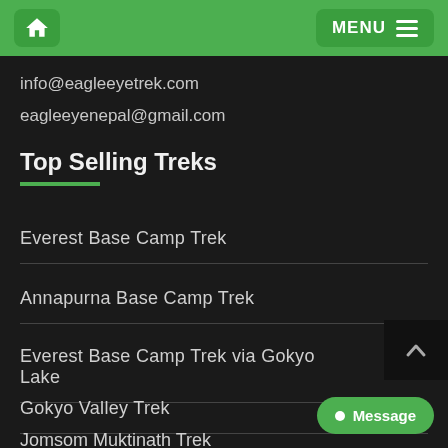Home | MENU
info@eagleeyetrek.com
eagleeyenepal@gmail.com
Top Selling Treks
Everest Base Camp Trek
Annapurna Base Camp Trek
Everest Base Camp Trek via Gokyo Lake
Gokyo Valley Trek
Jomsom Muktinath Trek